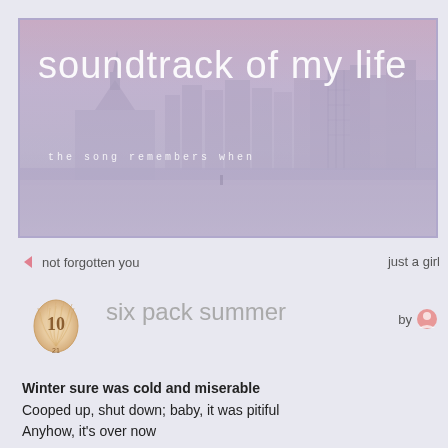[Figure (illustration): Banner image showing a foggy/misty beachside cityscape with buildings in the background and a beach in the foreground, with pink-purple atmospheric haze. White text reads 'soundtrack of my life' at top and 'the song remembers when' in smaller spaced type below.]
soundtrack of my life
the song remembers when
not forgotten you
just a girl
six pack summer
by
Winter sure was cold and miserable
Cooped up, shut down; baby, it was pitiful
Anyhow, it's over now